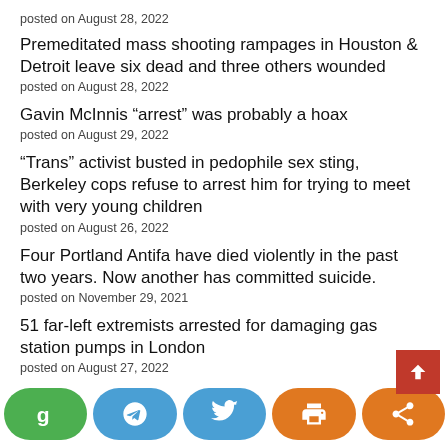posted on August 28, 2022
Premeditated mass shooting rampages in Houston & Detroit leave six dead and three others wounded
posted on August 28, 2022
Gavin McInnis “arrest” was probably a hoax
posted on August 29, 2022
“Trans” activist busted in pedophile sex sting, Berkeley cops refuse to arrest him for trying to meet with very young children
posted on August 26, 2022
Four Portland Antifa have died violently in the past two years. Now another has committed suicide.
posted on November 29, 2021
51 far-left extremists arrested for damaging gas station pumps in London
posted on August 27, 2022